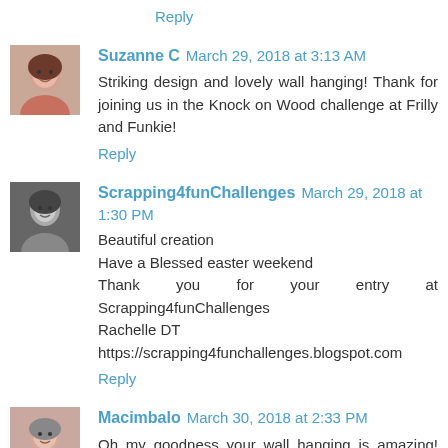Reply
Suzanne C March 29, 2018 at 3:13 AM
Striking design and lovely wall hanging! Thank for joining us in the Knock on Wood challenge at Frilly and Funkie!
Reply
Scrapping4funChallenges March 29, 2018 at 1:30 PM
Beautiful creation
Have a Blessed easter weekend
Thank you for your entry at Scrapping4funChallenges
Rachelle DT
https://scrapping4funchallenges.blogspot.com
Reply
Macimbalo March 30, 2018 at 2:33 PM
Oh my goodness your wall hanging is amazing! Thanks so